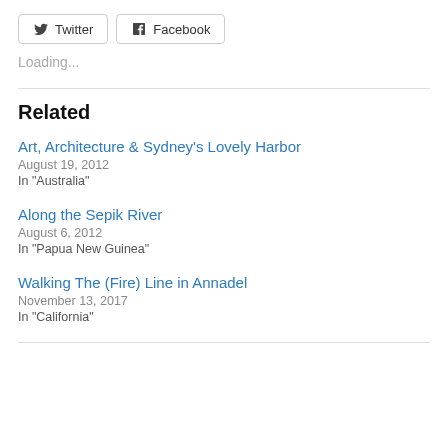[Figure (other): Twitter and Facebook share buttons with icons]
Loading...
Related
Art, Architecture & Sydney's Lovely Harbor
August 19, 2012
In "Australia"
Along the Sepik River
August 6, 2012
In "Papua New Guinea"
Walking The (Fire) Line in Annadel
November 13, 2017
In "California"